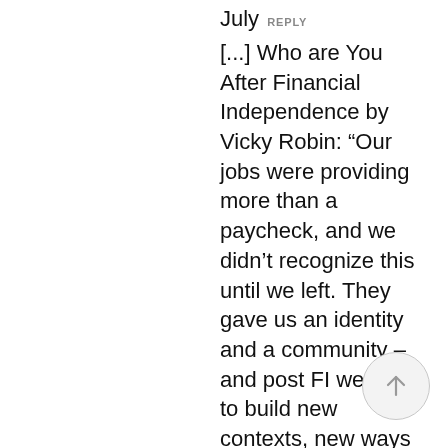July  REPLY
[...] Who are You After Financial Independence by Vicky Robin: “Our jobs were providing more than a paycheck, and we didn’t recognize this until we left. They gave us an identity and a community – and post FI we need to build new contexts, new ways to get respect and believe in ourselves, new ways to structure our days.”